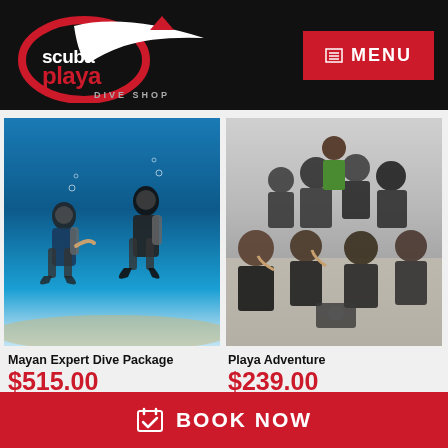[Figure (logo): Scuba Playa Dive Shop logo - red and white circular logo with text on black header background]
MENU
[Figure (photo): Two scuba divers underwater in clear blue water with sandy bottom]
[Figure (photo): Group of divers in wetsuits sitting together on a boat interior]
Mayan Expert Dive Package
$515.00
Playa Adventure
$239.00
BOOK NOW
BOOK NOW
BOOK NOW